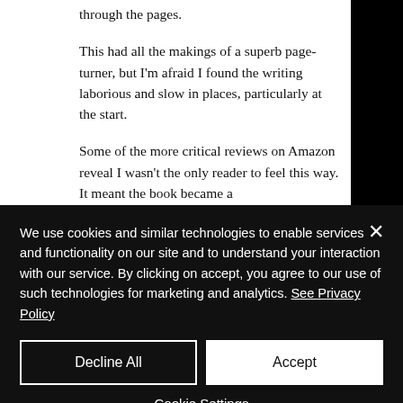through the pages.
This had all the makings of a superb page-turner, but I'm afraid I found the writing laborious and slow in places, particularly at the start.
Some of the more critical reviews on Amazon reveal I wasn't the only reader to feel this way. It meant the book became a
We use cookies and similar technologies to enable services and functionality on our site and to understand your interaction with our service. By clicking on accept, you agree to our use of such technologies for marketing and analytics. See Privacy Policy